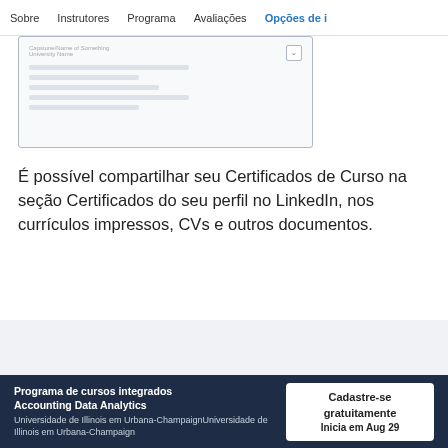Sobre   Instrutores   Programa   Avaliações   Opções de i
[Figure (screenshot): Certificate preview box with dropdown and placeholder content lines]
É possível compartilhar seu Certificados de Curso na seção Certificados do seu perfil no LinkedIn, nos currículos impressos, CVs e outros documentos.
Programa de cursos integrados Accounting Data Analytics
Universidade de Illinois em Urbana-ChampaignUniversidade de Illinois em Urbana-Champaign
Cadastre-se gratuitamente
Inicia em Aug 29